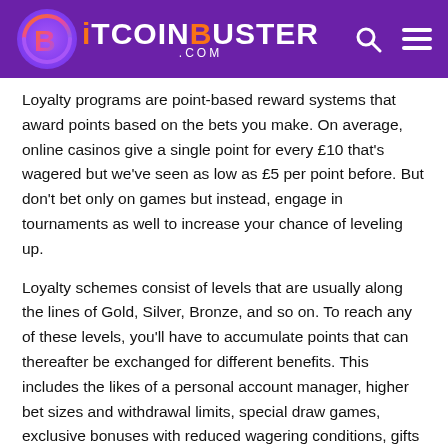BitcoinBuster.com
Loyalty programs are point-based reward systems that award points based on the bets you make. On average, online casinos give a single point for every £10 that's wagered but we've seen as low as £5 per point before. But don't bet only on games but instead, engage in tournaments as well to increase your chance of leveling up.
Loyalty schemes consist of levels that are usually along the lines of Gold, Silver, Bronze, and so on. To reach any of these levels, you'll have to accumulate points that can thereafter be exchanged for different benefits. This includes the likes of a personal account manager, higher bet sizes and withdrawal limits, special draw games, exclusive bonuses with reduced wagering conditions, gifts for holidays or birthdays, and many more.